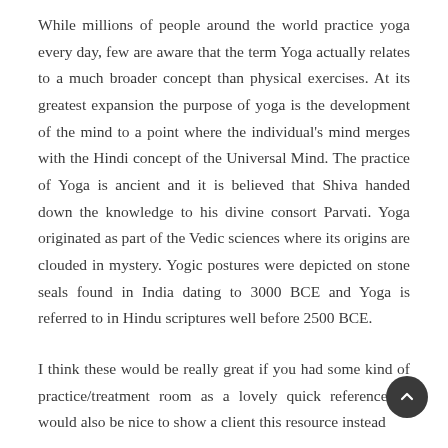While millions of people around the world practice yoga every day, few are aware that the term Yoga actually relates to a much broader concept than physical exercises. At its greatest expansion the purpose of yoga is the development of the mind to a point where the individual's mind merges with the Hindi concept of the Universal Mind. The practice of Yoga is ancient and it is believed that Shiva handed down the knowledge to his divine consort Parvati. Yoga originated as part of the Vedic sciences where its origins are clouded in mystery. Yogic postures were depicted on stone seals found in India dating to 3000 BCE and Yoga is referred to in Hindu scriptures well before 2500 BCE.
I think these would be really great if you had some kind of practice/treatment room as a lovely quick reference. It would also be nice to show a client this resource instead